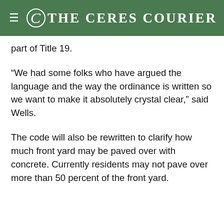The Ceres Courier
part of Title 19.
“We had some folks who have argued the language and the way the ordinance is written so we want to make it absolutely crystal clear,” said Wells.
The code will also be rewritten to clarify how much front yard may be paved over with concrete. Currently residents may not pave over more than 50 percent of the front yard.